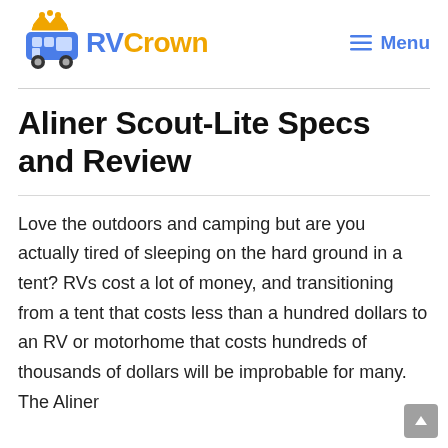RVCrown — Menu
Aliner Scout-Lite Specs and Review
Love the outdoors and camping but are you actually tired of sleeping on the hard ground in a tent? RVs cost a lot of money, and transitioning from a tent that costs less than a hundred dollars to an RV or motorhome that costs hundreds of thousands of dollars will be improbable for many. The Aliner